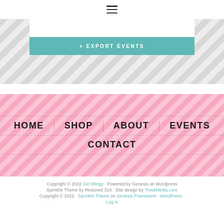[Figure (screenshot): Hamburger menu icon at top center]
[Figure (screenshot): White input box and teal '+ EXPORT EVENTS' button on chevron/zigzag grey background]
[Figure (screenshot): Pink diagonal striped navigation area with HOME, SHOP, ABOUT, EVENTS, CONTACT links]
Copyright © 2022 Get Blingy · Powered by Genesis on Wordpress Sprinkle Theme by Restored 316 · Site design by TrixieMedia.com Copyright © 2022 · Sprinkle Theme on Genesis Framework · WordPress · Log in